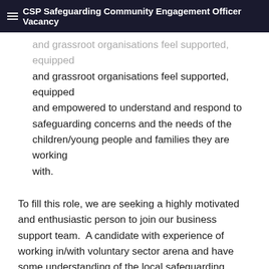CSP Safeguarding Community Engagement Officer Vacancy
and grassroot organisations feel supported, equipped and empowered to understand and respond to safeguarding concerns and the needs of the children/young people and families they are working with.
To fill this role, we are seeking a highly motivated and enthusiastic person to join our business support team.  A candidate with experience of working in/with voluntary sector arena and have some understanding of the local safeguarding issues and challenges across all these groups, and knowledge and understanding of Sandwell’s 6 Towns and the local needs would also be desirable.
If you have any questions, would like to know more about